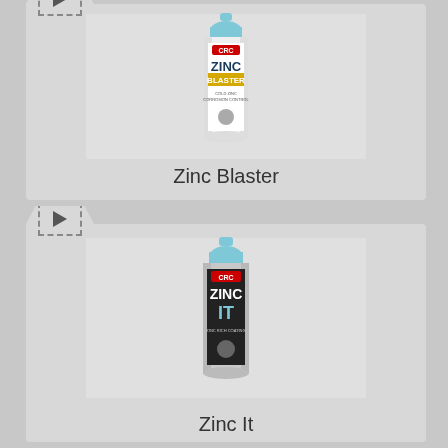[Figure (photo): CRC Zinc Blaster aerosol spray can product image with video play button tab in top left corner]
Zinc Blaster
[Figure (photo): CRC Zinc It aerosol spray can product image with video play button tab in top left corner]
Zinc It